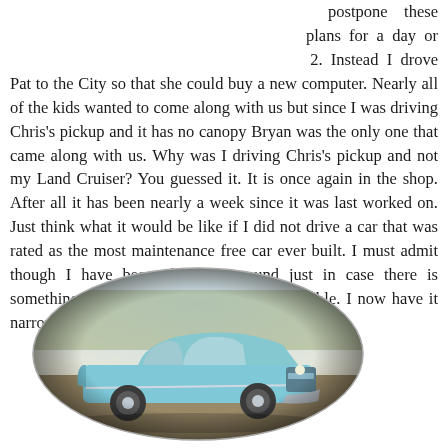postpone these plans for a day or 2. Instead I drove Pat to the City so that she could buy a new computer. Nearly all of the kids wanted to come along with us but since I was driving Chris's pickup and it has no canopy Bryan was the only one that came along with us. Why was I driving Chris's pickup and not my Land Cruiser? You guessed it. It is once again in the shop. After all it has been nearly a week since it was last worked on. Just think what it would be like if I did not drive a car that was rated as the most maintenance free car ever built. I must admit though I have been checking around just in case there is something out there that is a little more reliable. I now have it narrowed down to 3 choices.
[Figure (photo): A vintage light blue classic American car (appears to be a late 1950s Edsel) photographed in an outdoor setting, displayed in an oval vignette frame.]